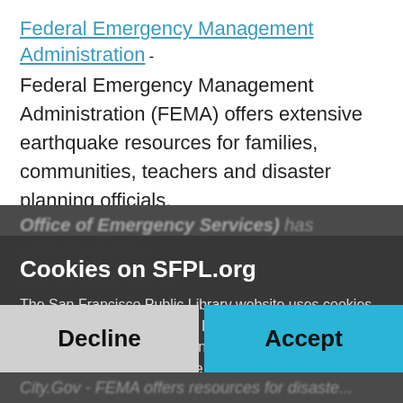Federal Emergency Management Administration - Federal Emergency Management Administration (FEMA) offers extensive earthquake resources for families, communities, teachers and disaster planning officials.
Great California Shakeout - Cal OES (Governor's Office of Emergency Services) has printable guides and furniture, be for...
Cookies on SFPL.org
The San Francisco Public Library website uses cookies to improve your experience. Declining the use of cookies will not prevent you from using the website but some of your preferences may not be retained.
Decline
Accept